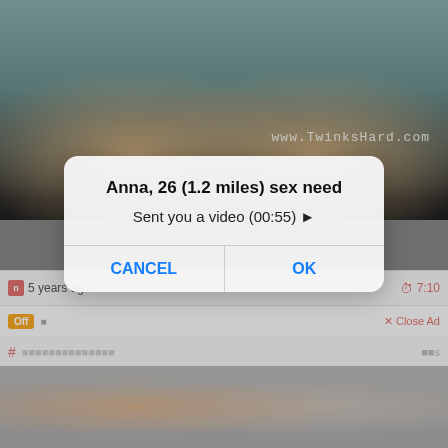[Figure (screenshot): Screenshot of a video website with an adult content video thumbnail, showing feet/legs at top and two people at bottom. A watermark reads www.TwinksHard.com. A metadata bar shows '5 years ago' and duration '7:10'. An ad bar shows 'Off' label and 'Close Ad' text. A hashtag bar is visible. Over the page is a semi-transparent modal dialog overlay.]
Anna, 26 (1.2 miles) sex need
Sent you a video (00:55) ▶
CANCEL
OK